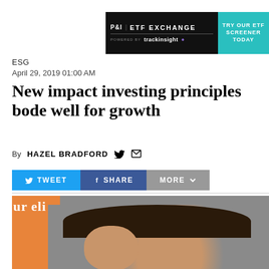[Figure (other): Advertisement banner for P&I ETF Exchange powered by trackinsight, with a teal button saying TRY OUR ETF SCREENER TODAY]
ESG
April 29, 2019 01:00 AM
New impact investing principles bode well for growth
By HAZEL BRADFORD
[Figure (other): Share buttons: TWEET (blue), SHARE (dark blue), MORE (gray) with dropdown arrow]
[Figure (photo): Photo of a woman with dark hair, partially visible, with orange and blurred background]